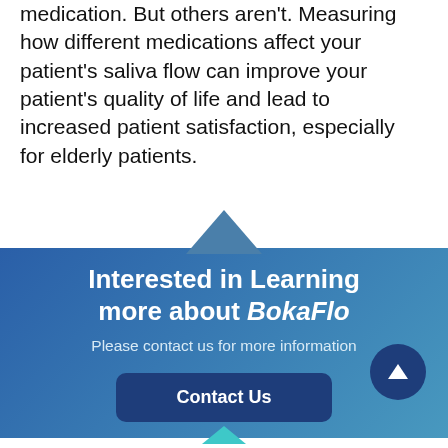medication. But others aren't. Measuring how different medications affect your patient's saliva flow can improve your patient's quality of life and lead to increased patient satisfaction, especially for elderly patients.
Interested in Learning more about BokaFlo
Please contact us for more information
Contact Us